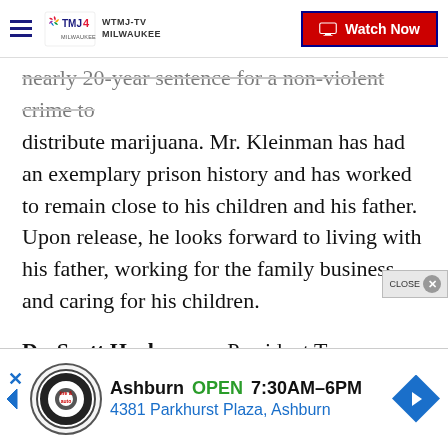WTMJ-TV MILWAUKEE | Watch Now
nearly 20-year sentence for a non-violent crime to distribute marijuana. Mr. Kleinman has had an exemplary prison history and has worked to remain close to his children and his father. Upon release, he looks forward to living with his father, working for the family business, and caring for his children.
Dr. Scott Harkonen – President Trump granted a full pardon Dr. Scott Harkonen. Dr. Harkonen was convicted of fraud based on a misleading caption in a press release with respect to a treatment for a disease. Dr. Harkonen is world renowned for his discovery
[Figure (screenshot): Advertisement bar for Tire & Auto in Ashburn, showing logo, OPEN 7:30AM-6PM, address 4381 Parkhurst Plaza, Ashburn, and navigation arrow icon]